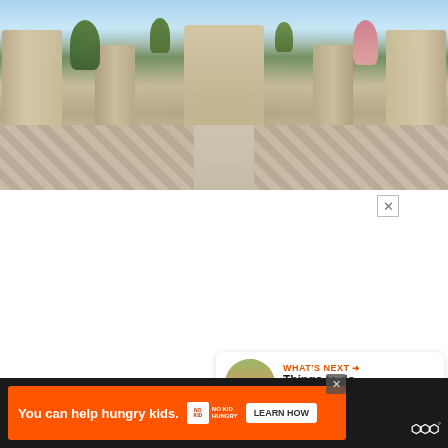[Figure (photo): Panoramic photo of a large stone monument or plaza with classical pillars and statues, ornamental iron fencing, checkered tile ground, trees with pink blossoms, blue sky with clouds]
[Figure (screenshot): Advertisement banner with black background: 'DON'T TEXT AND' (yellow/cyan text) with red car emoji, 'ad' badge, NHTSA logo, close button X]
[Figure (infographic): Red circular like/heart button with count 817 below, and share button]
[Figure (screenshot): WHAT'S NEXT panel with thumbnail image and text 'Things to do in Seville,...' in orange]
[Figure (screenshot): Bottom advertisement bar on dark background: orange banner with 'You can help hungry kids.' No Kid Hungry logo, LEARN HOW button, close X. Weather.com logo on right.]